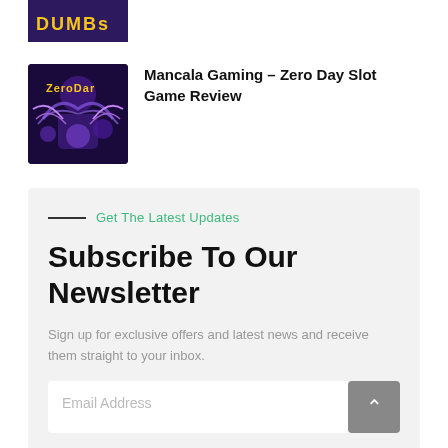[Figure (illustration): Partial game thumbnail showing colorful text 'DUMB' on dark purple background]
[Figure (illustration): Zero Day slot game thumbnail with purple/blue background showing animated characters]
Mancala Gaming – Zero Day Slot Game Review
Get The Latest Updates
Subscribe To Our Newsletter
Sign up for exclusive offers and latest news and receive them straight to your inbox.
Email Address